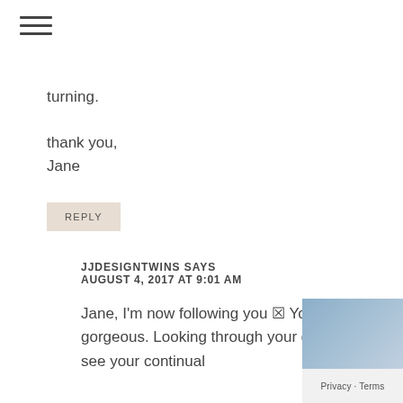[Figure (other): Hamburger menu icon (three horizontal lines)]
turning.
thank you,
Jane
REPLY
JJDESIGNTWINS SAYS
AUGUST 4, 2017 AT 9:01 AM
Jane, I'm now following you 🙂 Your feed is gorgeous. Looking through your gallery I can see your continual